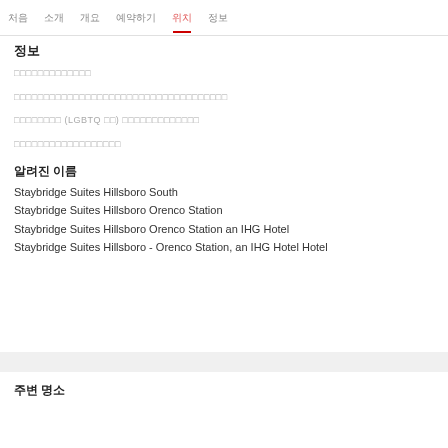처음  소개  개요  예약하기  위치  정보
정보
□□□□□□□□□□□□□
□□□□□□□□□□□□□□□□□□□□□□□□□□□□□□□□□□□□
□□□□□□□□ (LGBTQ □□) □□□□□□□□□□□□□
□□□□□□□□□□□□□□□□□□
알려진 이름
Staybridge Suites Hillsboro South
Staybridge Suites Hillsboro Orenco Station
Staybridge Suites Hillsboro Orenco Station an IHG Hotel
Staybridge Suites Hillsboro - Orenco Station, an IHG Hotel Hotel
주변 명소